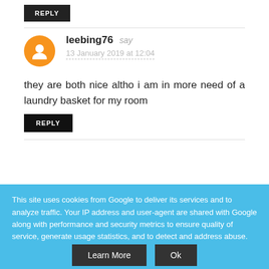REPLY
leebing76 say
13 January 2019 at 12:04
they are both nice altho i am in more need of a laundry basket for my room
REPLY
This site uses cookies from Google to deliver its services and to analyze traffic. Your IP address and user-agent are shared with Google along with performance and security metrics to ensure quality of service, generate usage statistics, and to detect and address abuse.
Learn More
Ok